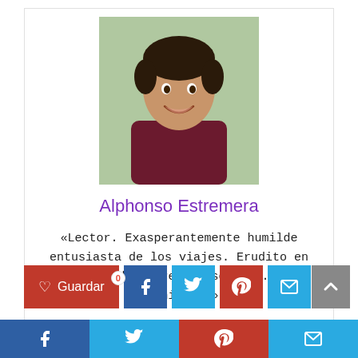[Figure (photo): Profile photo of Alphonso Estremera, a young man smiling, wearing a dark red shirt]
Alphonso Estremera
«Lector. Exasperantemente humilde entusiasta de los viajes. Erudito en comida extrema. Escritor. Comunicador».
Guardar 0
Related Articles